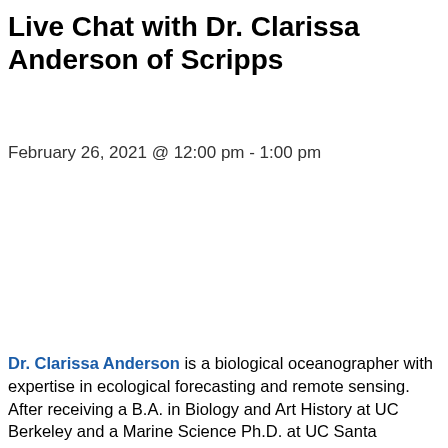Live Chat with Dr. Clarissa Anderson of Scripps
February 26, 2021 @ 12:00 pm - 1:00 pm
Dr. Clarissa Anderson is a biological oceanographer with expertise in ecological forecasting and remote sensing. After receiving a B.A. in Biology and Art History at UC Berkeley and a Marine Science Ph.D. at UC Santa Barbara, she completed